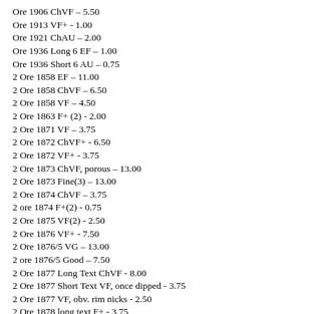Ore 1906 ChVF – 5.50
Ore 1913 VF+ - 1.00
Ore 1921 ChAU – 2.00
Ore 1936 Long 6 EF – 1.00
Ore 1936 Short 6 AU – 0.75
2 Ore 1858 EF – 11.00
2 Ore 1858 ChVF – 6.50
2 Ore 1858 VF – 4.50
2 Ore 1863 F+ (2) - 2.00
2 Ore 1871 VF – 3.75
2 Ore 1872 ChVF+ - 6.50
2 Ore 1872 VF+ - 3.75
2 Ore 1873 ChVF, porous – 13.00
2 Ore 1873 Fine(3) – 13.00
2 Ore 1874 ChVF – 3.75
2 ore 1874 F+(2) - 0.75
2 Ore 1875 VF(2) - 2.50
2 Ore 1876 VF+ - 7.50
2 Ore 1876/5 VG – 13.00
2 ore 1876/5 Good – 7.50
2 Ore 1877 Long Text ChVF - 8.00
2 Ore 1877 Short Text VF, once dipped - 3.75
2 Ore 1877 VF, obv. rim nicks - 2.50
2 Ore 1878 long text F+ - 3.75
2 Ore 1879 ChVF - 6.00